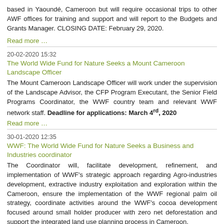based in Yaoundé, Cameroon but will require occasional trips to other AWF offices for training and support and will report to the Budgets and Grants Manager. CLOSING DATE: February 29, 2020.
Read more …
20-02-2020 15:32
The World Wide Fund for Nature Seeks a Mount Cameroon Landscape Officer
The Mount Cameroon Landscape Officer will work under the supervision of the Landscape Advisor, the CFP Program Executant, the Senior Field Programs Coordinator, the WWF country team and relevant WWF network staff. Deadline for applications: March 4rd, 2020
Read more …
30-01-2020 12:35
WWF: The World Wide Fund for Nature Seeks a Business and Industries coordinator
The Coordinator will, facilitate development, refinement, and implementation of WWF's strategic approach regarding Agro-industries development, extractive industry exploitation and exploration within the Cameroon, ensure the implementation of the WWF regional palm oil strategy, coordinate activities around the WWF's cocoa development focused around small holder producer with zero net deforestation and support the integrated land use planning process in Cameroon. Deadline for applications: February 11th, 2020. Female applicants are encouraged.
Read more …
22-01-2020 11:14
Rainforest Alliance-Senior Associate, Gender & Social Protection
The Senior Associate, Gender and Social Protection will be mainly responsible to promote the role of women and youth (especially young women) as agents